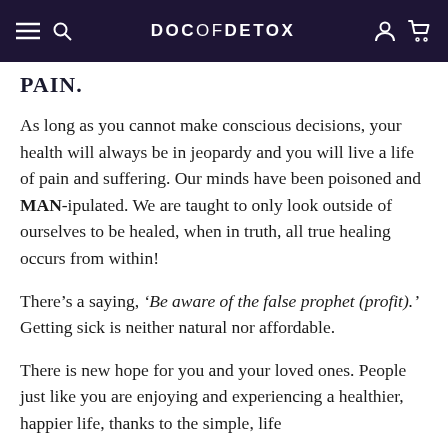DOCOFDETOX
PAIN.
As long as you cannot make conscious decisions, your health will always be in jeopardy and you will live a life of pain and suffering. Our minds have been poisoned and MAN-ipulated. We are taught to only look outside of ourselves to be healed, when in truth, all true healing occurs from within!
There’s a saying, ‘Be aware of the false prophet (profit).’ Getting sick is neither natural nor affordable.
There is new hope for you and your loved ones. People just like you are enjoying and experiencing a healthier, happier life, thanks to the simple, life